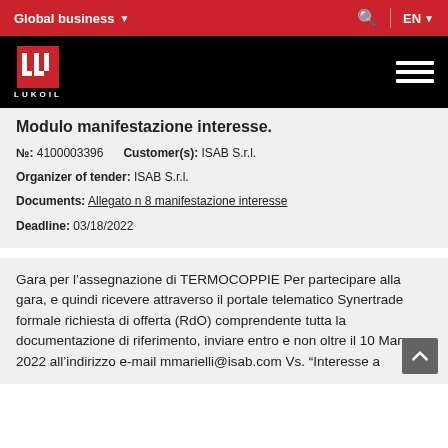Global business  EN
[Figure (logo): LUKOIL logo — white LUK symbol on red background, with LUKOIL text below, on black header bar with hamburger menu icon on right]
Modulo manifestazione interesse.
№: 4100003396   Customer(s): ISAB S.r.l.
Organizer of tender: ISAB S.r.l.
Documents: Allegato n 8 manifestazione interesse
Deadline: 03/18/2022
Gara per l'assegnazione di TERMOCOPPIE Per partecipare alla gara, e quindi ricevere attraverso il portale telematico Synertrade formale richiesta di offerta (RdO) comprendente tutta la documentazione di riferimento, inviare entro e non oltre il 10 Marzo 2022 all'indirizzo e-mail mmarielli@isab.com Vs. "Interesse a